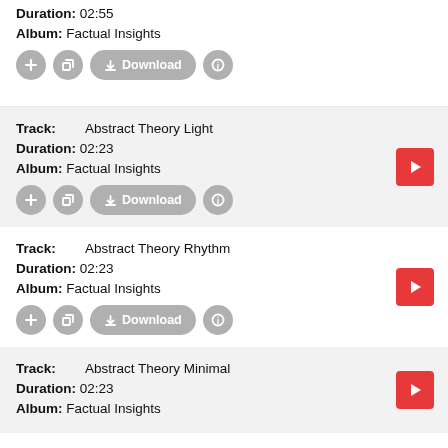Duration: 02:55
Album: Factual Insights
Track: Abstract Theory Light
Duration: 02:23
Album: Factual Insights
Track: Abstract Theory Rhythm
Duration: 02:23
Album: Factual Insights
Track: Abstract Theory Minimal
Duration: 02:23
Album: Factual Insights